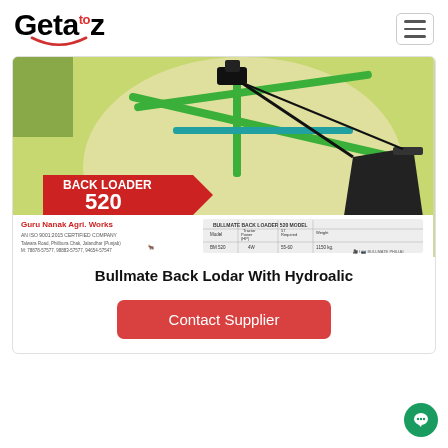Getaz (logo with smile)
[Figure (photo): Product photo of Bullmate Back Loader 520 agricultural equipment - a green metal frame back loader implement with black bucket attachment. Lower portion shows Guru Nanak Agri. Works company branding and a specifications table.]
Bullmate Back Lodar With Hydroalic
Contact Supplier